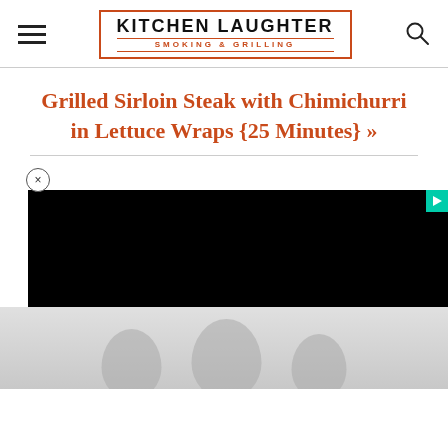KITCHEN LAUGHTER SMOKING & GRILLING
Grilled Sirloin Steak with Chimichurri in Lettuce Wraps {25 Minutes} »
[Figure (screenshot): Embedded video player with black screen and play button overlay, close button (x) in top-left circle]
[Figure (photo): Black and white photo of people, partially visible at bottom of page]